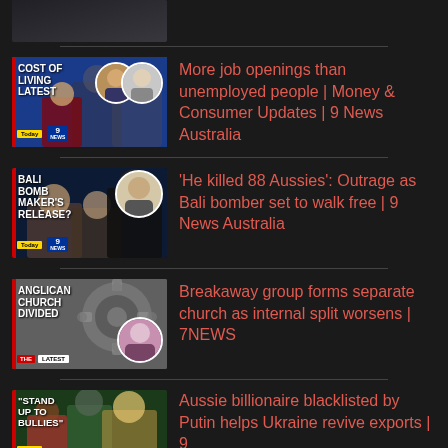[Figure (screenshot): Partial top news item thumbnail (cropped at top of page)]
More job openings than unemployed people | Money & Consumer Updates | 9 News Australia
'He killed 88 Aussies': Outrage as Bali bomber set to walk free | 9 News Australia
Breakaway group forms separate church as internal split worsens | 7NEWS
Aussie billionaire blacklisted by Putin helps Ukraine revive exports | 9...